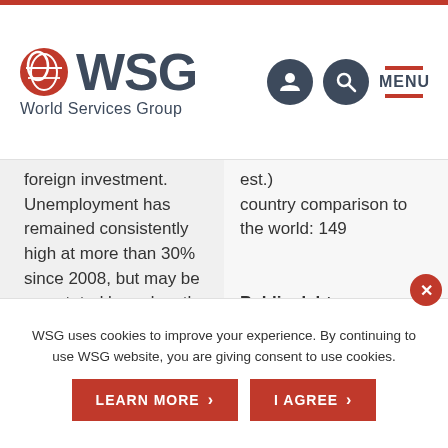[Figure (logo): WSG World Services Group logo with red globe icon and dark text]
foreign investment. Unemployment has remained consistently high at more than 30% since 2008, but may be overstated based on the existence of an extensive gray market, estimated to be between 20% and 45%
est.)
country comparison to the world: 149

Public debt: 34.3% of GDP (2013 est.)
country comparison to the world: 108
WSG uses cookies to improve your experience. By continuing to use WSG website, you are giving consent to use cookies.